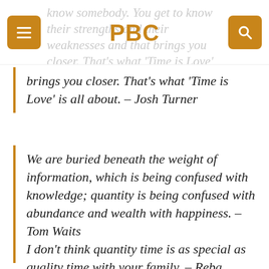PBC
know somebody. You get to know their strengths and their weaknesses and that brings you closer. That's what 'Time is Love' is all about. – Josh Turner
We are buried beneath the weight of information, which is being confused with knowledge; quantity is being confused with abundance and wealth with happiness. – Tom Waits
I don't think quantity time is as special as quality time with your family. – Reba McEntire